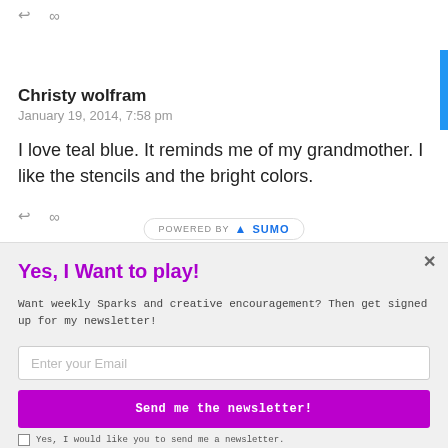↩  ∞
Christy wolfram
January 19, 2014, 7:58 pm
I love teal blue. It reminds me of my grandmother. I like the stencils and the bright colors.
↩  ∞  POWERED BY SUMO
Yes, I Want to play!
Want weekly Sparks and creative encouragement? Then get signed up for my newsletter!
Enter your Email
Send me the newsletter!
Yes, I would like you to send me a newsletter.